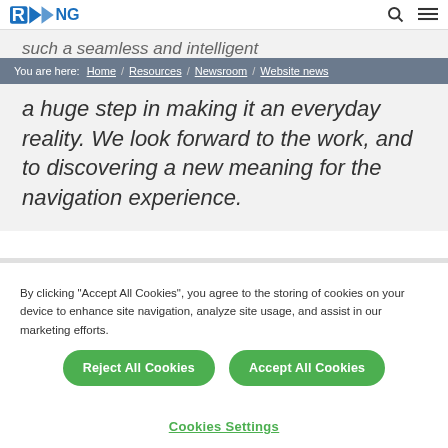RNG logo, search icon, menu icon
such a seamless and intelligent
You are here: Home / Resources / Newsroom / Website news
a huge step in making it an everyday reality. We look forward to the work, and to discovering a new meaning for the navigation experience.
By clicking “Accept All Cookies”, you agree to the storing of cookies on your device to enhance site navigation, analyze site usage, and assist in our marketing efforts.
Reject All Cookies
Accept All Cookies
Cookies Settings